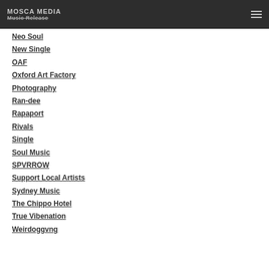MOSCA MEDIA Music Release
Neo Soul
New Single
OAF
Oxford Art Factory
Photography
Ran-dee
Rapaport
Rivals
Single
Soul Music
SPVRROW
Support Local Artists
Sydney Music
The Chippo Hotel
True Vibenation
Weirdoggvng